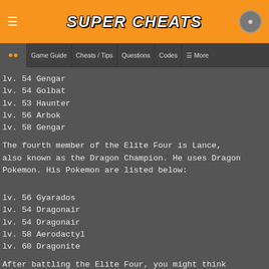SUPER CHEATS
Game Guide | Cheats / Tips | Questions | Codes | More
lv. 54 Gengar
lv. 54 Golbat
lv. 53 Haunter
lv. 56 Arbok
lv. 58 Gengar
The fourth member of the Elite Four is Lance, also known as the Dragon Champion. He uses Dragon Pokemon. His Pokemon are listed below:
lv. 56 Gyarados
lv. 54 Dragonair
lv. 54 Dragonair
lv. 58 Aerodactyl
lv. 60 Dragonite
After battling the Elite Four, you might think it's over. But it's not over the yet; it's time